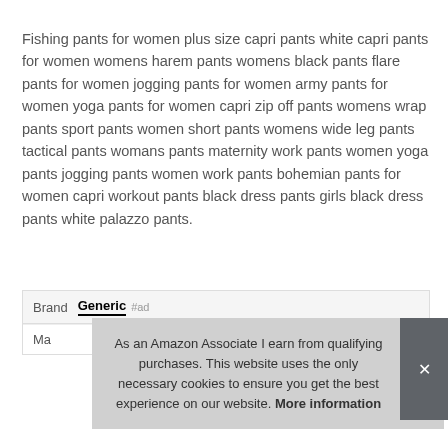Fishing pants for women plus size capri pants white capri pants for women womens harem pants womens black pants flare pants for women jogging pants for women army pants for women yoga pants for women capri zip off pants womens wrap pants sport pants women short pants womens wide leg pants tactical pants womans pants maternity work pants women yoga pants jogging pants women work pants bohemian pants for women capri workout pants black dress pants girls black dress pants white palazzo pants.
| Brand | Generic #ad |
| --- | --- |
| Ma |  |
As an Amazon Associate I earn from qualifying purchases. This website uses the only necessary cookies to ensure you get the best experience on our website. More information